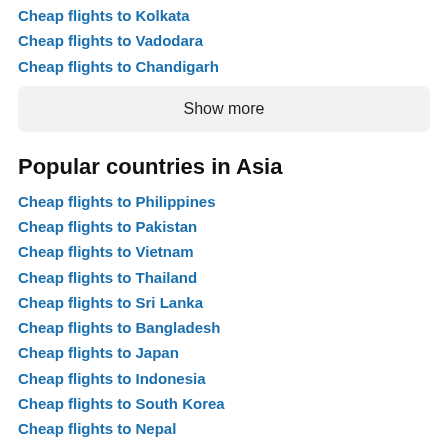Cheap flights to Kolkata
Cheap flights to Vadodara
Cheap flights to Chandigarh
Show more
Popular countries in Asia
Cheap flights to Philippines
Cheap flights to Pakistan
Cheap flights to Vietnam
Cheap flights to Thailand
Cheap flights to Sri Lanka
Cheap flights to Bangladesh
Cheap flights to Japan
Cheap flights to Indonesia
Cheap flights to South Korea
Cheap flights to Nepal
Cheap flights to Singapore